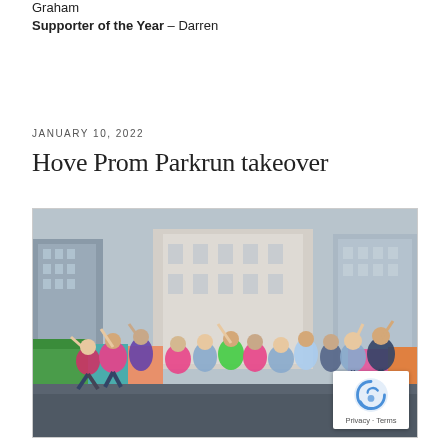Graham
Supporter of the Year – Darren
JANUARY 10, 2022
Hove Prom Parkrun takeover
[Figure (photo): Group of runners and volunteers in pink high-visibility vests jumping joyfully on a wet promenade in front of colourful beach huts and city buildings in the background. Rainy day, roughly 15–20 people mid-jump.]